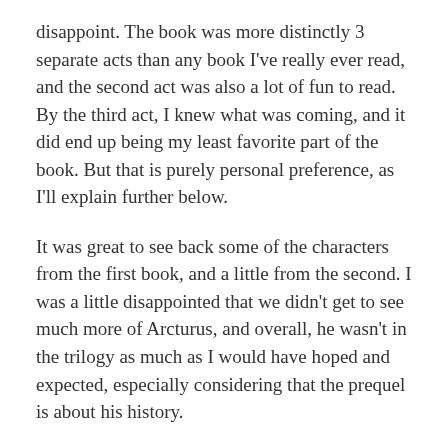disappoint. The book was more distinctly 3 separate acts than any book I've really ever read, and the second act was also a lot of fun to read. By the third act, I knew what was coming, and it did end up being my least favorite part of the book. But that is purely personal preference, as I'll explain further below.
It was great to see back some of the characters from the first book, and a little from the second. I was a little disappointed that we didn't get to see much more of Arcturus, and overall, he wasn't in the trilogy as much as I would have hoped and expected, especially considering that the prequel is about his history.
I enjoyed the middle act, where we really get to see